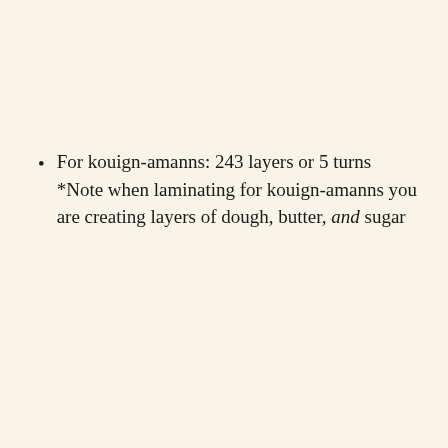For kouign-amanns: 243 layers or 5 turns *Note when laminating for kouign-amanns you are creating layers of dough, butter, and sugar